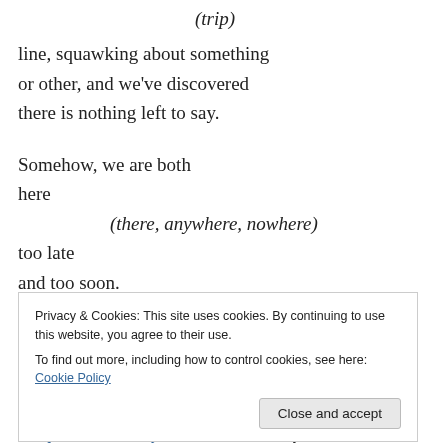(trip)
line, squawking about something
or other, and we've discovered
there is nothing left to say.
Somehow, we are both
here
(there, anywhere, nowhere)
too late
and too soon.
Privacy & Cookies: This site uses cookies. By continuing to use this website, you agree to their use.
To find out more, including how to control cookies, see here: Cookie Policy
It's Quadrille Monday over at dVerse today, and I'm